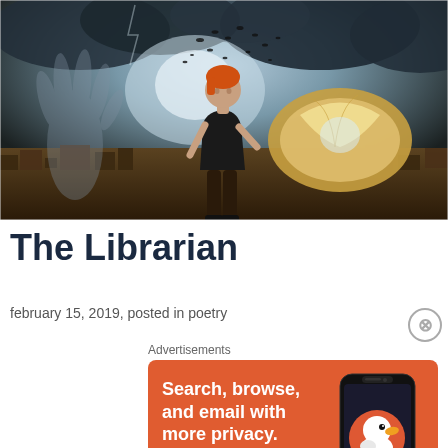[Figure (illustration): Fantasy digital art showing a woman with orange hair in a black dress standing on a ruined cityscape, holding an open book from which birds emerge, with dramatic storm clouds in the background and a ghostly hand visible on the left.]
The Librarian
february 15, 2019, posted in poetry
Advertisements
[Figure (screenshot): DuckDuckGo advertisement banner with orange background. Text reads 'Search, browse, and email with more privacy. All in One Free App' with a phone mockup showing the DuckDuckGo app and logo.]